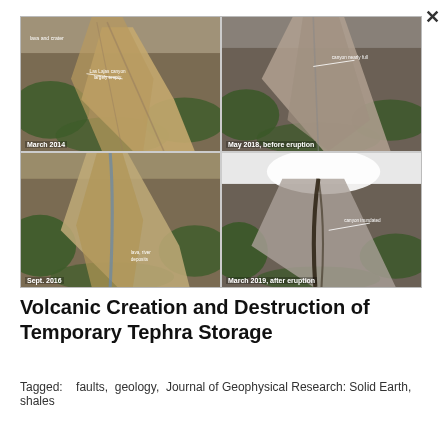[Figure (photo): Four aerial/satellite photos showing volcanic tephra deposits and canyon at different dates: March 2014 (lava and crater visible, Las Lajas canyon largely empty), May 2018 before eruption (canyon nearly full), Sept. 2016 (lava, river deposits), March 2019 after eruption (canyon inundated).]
Volcanic Creation and Destruction of Temporary Tephra Storage
Tagged:     faults,  geology,  Journal of Geophysical Research: Solid Earth,  shales